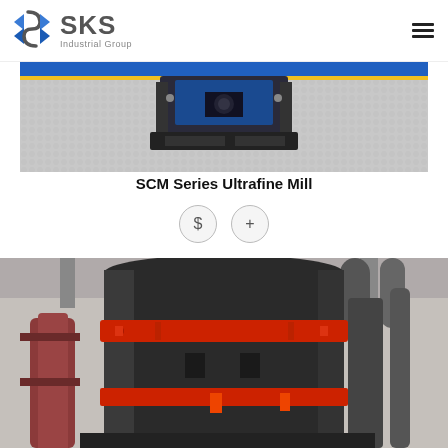SKS Industrial Group
[Figure (photo): Top portion of SCM Series Ultrafine Mill machine showing blue mechanical components on white/grey textured surface with yellow detail]
SCM Series Ultrafine Mill
[Figure (photo): Large industrial vertical grinding mill with dark grey cylindrical body, red band/stripe around the middle, shot from below looking up inside an industrial facility]